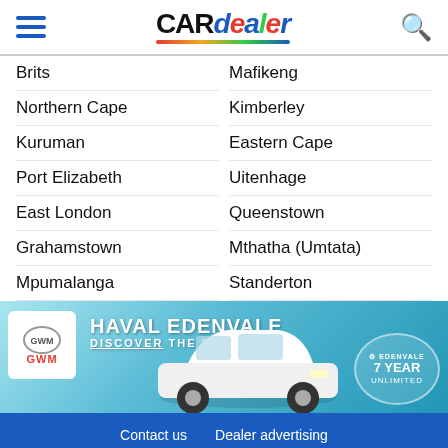CARdealer
Brits
Mafikeng
Northern Cape
Kimberley
Kuruman
Eastern Cape
Port Elizabeth
Uitenhage
East London
Queenstown
Grahamstown
Mthatha (Umtata)
Mpumalanga
Standerton
[Figure (illustration): GWM Haval Edenvale advertisement banner showing a white SUV with text 'HAVAL EDENVALE DISCOVER THE DIFFERENCE' and '7 YEAR UNLIMITED' badge]
Contact us    Dealer advertising    Email Disclaimer    Terms of Use    PAIA Manual    Support    Cars For Sale by Owner